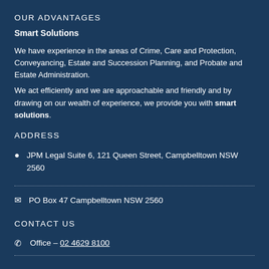OUR ADVANTAGES
Smart Solutions
We have experience in the areas of Crime, Care and Protection, Conveyancing, Estate and Succession Planning, and Probate and Estate Administration.
We act efficiently and we are approachable and friendly and by drawing on our wealth of experience, we provide you with smart solutions.
ADDRESS
JPM Legal Suite 6, 121 Queen Street, Campbelltown NSW 2560
PO Box 47 Campbelltown NSW 2560
CONTACT US
Office – 02 4629 8100